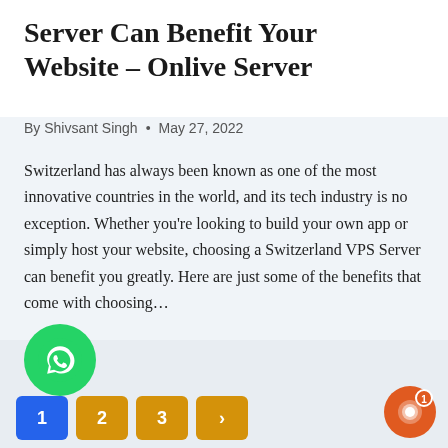Server Can Benefit Your Website – Onlive Server
By Shivsant Singh • May 27, 2022
Switzerland has always been known as one of the most innovative countries in the world, and its tech industry is no exception. Whether you're looking to build your own app or simply host your website, choosing a Switzerland VPS Server can benefit you greatly. Here are just some of the benefits that come with choosing…
READ MORE →